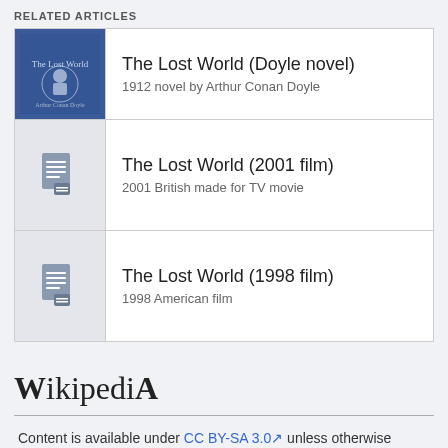RELATED ARTICLES
| Image | Title | Description |
| --- | --- | --- |
| [book cover image] | The Lost World (Doyle novel) | 1912 novel by Arthur Conan Doyle |
| [document icon] | The Lost World (2001 film) | 2001 British made for TV movie |
| [document icon] | The Lost World (1998 film) | 1998 American film |
[Figure (logo): Wikipedia logo text]
Content is available under CC BY-SA 3.0 unless otherwise noted.
Terms of Use • Privacy policy • Desktop